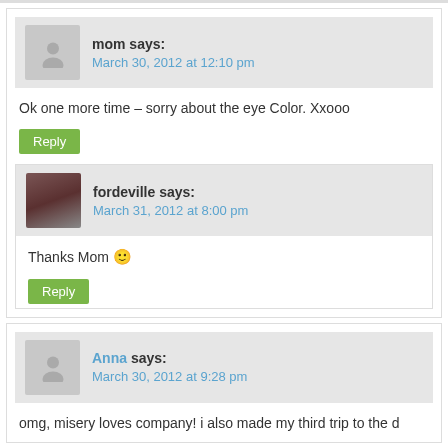mom says: March 30, 2012 at 12:10 pm
Ok one more time – sorry about the eye Color. Xxooo
Reply
fordeville says: March 31, 2012 at 8:00 pm
Thanks Mom 🙂
Reply
Anna says: March 30, 2012 at 9:28 pm
omg, misery loves company! i also made my third trip to the d...